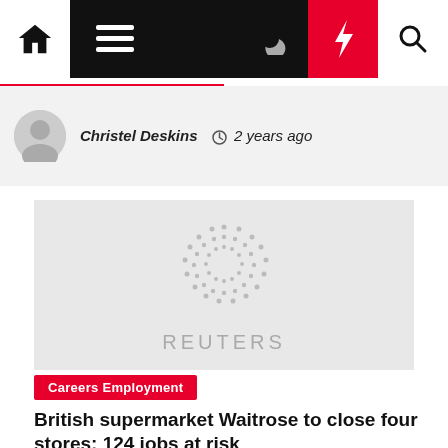Navigation bar with home, menu, moon, lightning, and search icons
[Figure (photo): Author avatar placeholder - grey circle silhouette]
Christel Deskins  2 years ago
[Figure (logo): Reuters logo placeholder image on grey background]
Careers Employment
British supermarket Waitrose to close four stores; 124 jobs at risk